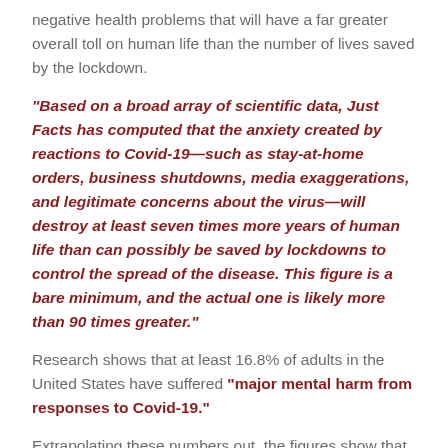negative health problems that will have a far greater overall toll on human life than the number of lives saved by the lockdown.
“Based on a broad array of scientific data, Just Facts has computed that the anxiety created by reactions to Covid-19—such as stay-at-home orders, business shutdowns, media exaggerations, and legitimate concerns about the virus—will destroy at least seven times more years of human life than can possibly be saved by lockdowns to control the spread of the disease. This figure is a bare minimum, and the actual one is likely more than 90 times greater.”
Research shows that at least 16.8% of adults in the United States have suffered “major mental harm from responses to Covid-19.”
Extrapolating these numbers out, the figures show that “anxiety from responses to Covid-19 has impacted 40,979,660 adults and will obliterate far